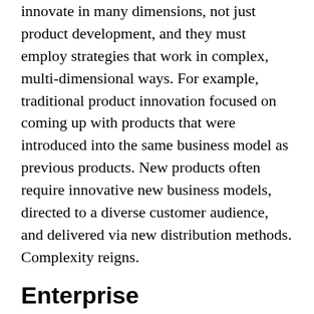innovate in many dimensions, not just product development, and they must employ strategies that work in complex, multi-dimensional ways. For example, traditional product innovation focused on coming up with products that were introduced into the same business model as previous products. New products often require innovative new business models, directed to a diverse customer audience, and delivered via new distribution methods. Complexity reigns.
Enterprise Transformation
In today's world, you must be an innovator and establish an enterprise culture that